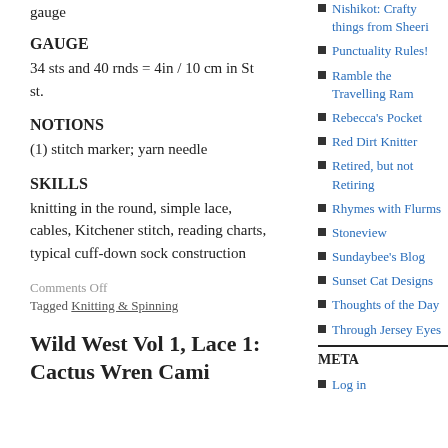gauge
GAUGE
34 sts and 40 rnds = 4in / 10 cm in St st.
NOTIONS
(1) stitch marker; yarn needle
SKILLS
knitting in the round, simple lace, cables, Kitchener stitch, reading charts, typical cuff-down sock construction
Comments Off
Tagged Knitting & Spinning
Wild West Vol 1, Lace 1: Cactus Wren Cami
Nishikot: Crafty things from Sheeri
Punctuality Rules!
Ramble the Travelling Ram
Rebecca's Pocket
Red Dirt Knitter
Retired, but not Retiring
Rhymes with Flurms
Stoneview
Sundaybee's Blog
Sunset Cat Designs
Thoughts of the Day
Through Jersey Eyes
META
Log in